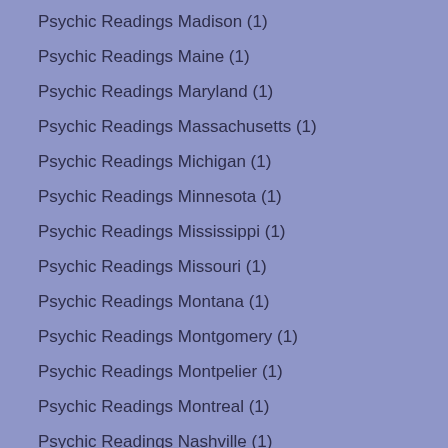Psychic Readings Madison (1)
Psychic Readings Maine (1)
Psychic Readings Maryland (1)
Psychic Readings Massachusetts (1)
Psychic Readings Michigan (1)
Psychic Readings Minnesota (1)
Psychic Readings Mississippi (1)
Psychic Readings Missouri (1)
Psychic Readings Montana (1)
Psychic Readings Montgomery (1)
Psychic Readings Montpelier (1)
Psychic Readings Montreal (1)
Psychic Readings Nashville (1)
Psychic Readings Nebraska (1)
Psychic Readings Nevada (1)
Psychic Readings New Hampshire (1)